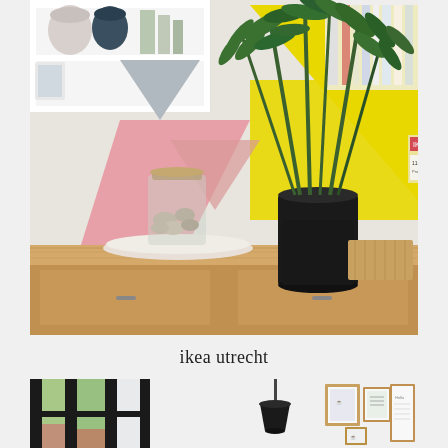[Figure (photo): IKEA Utrecht store display: a wooden desk/sideboard with white shelving unit above, geometric painted wall in yellow, pink and grey triangles, a glass jar with cork lid on a white ceramic plate, and a bamboo plant in a black pot]
ikea utrecht
[Figure (photo): Interior room with black-framed windows looking out to greenery, a black pendant lamp hanging from ceiling, white walls with framed art prints arranged on wall]